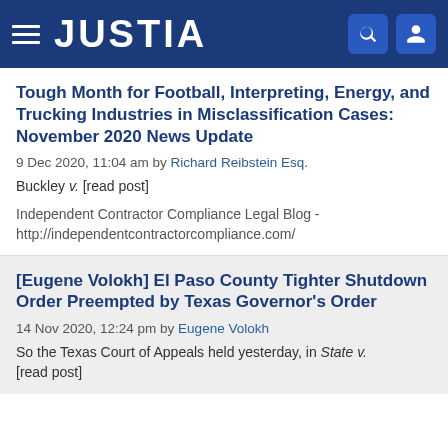JUSTIA
Tough Month for Football, Interpreting, Energy, and Trucking Industries in Misclassification Cases: November 2020 News Update
9 Dec 2020, 11:04 am by Richard Reibstein Esq.
Buckley v. [read post]
Independent Contractor Compliance Legal Blog - http://independentcontractorcompliance.com/
[Eugene Volokh] El Paso County Tighter Shutdown Order Preempted by Texas Governor's Order
14 Nov 2020, 12:24 pm by Eugene Volokh
So the Texas Court of Appeals held yesterday, in State v. [read post]